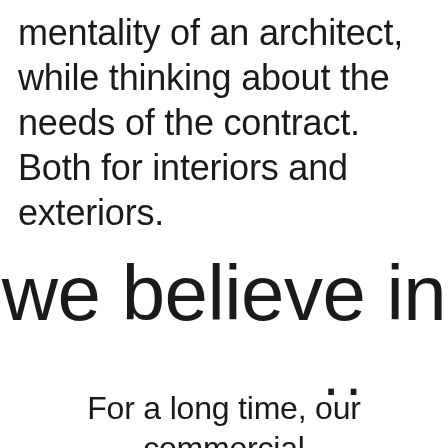mentality of an architect, while thinking about the needs of the contract. Both for interiors and exteriors.
we believe in
..
For a long time, our commercial BD Éditions de Diseño...